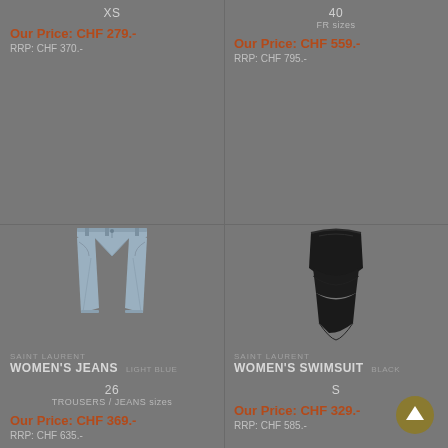XS
Our Price: CHF 279.-
RRP: CHF 370.-
[Figure (photo): Light blue women's jeans, Saint Laurent]
SAINT LAURENT
WOMEN'S JEANS  LIGHT BLUE
26
TROUSERS / JEANS sizes
Our Price: CHF 369.-
RRP: CHF 635.-
40
FR sizes
Our Price: CHF 559.-
RRP: CHF 795.-
[Figure (photo): Black women's swimsuit, Saint Laurent]
SAINT LAURENT
WOMEN'S SWIMSUIT  BLACK
S
Our Price: CHF 329.-
RRP: CHF 585.-